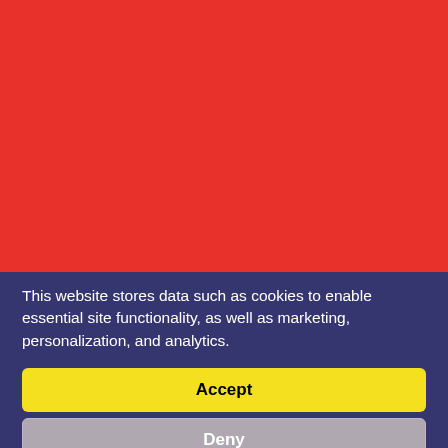[Figure (illustration): Large red background area occupying the top portion of the page]
This website stores data such as cookies to enable essential site functionality, as well as marketing, personalization, and analytics.
Accept
Deny